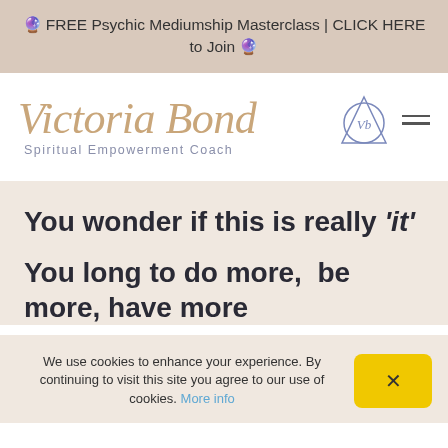🔮 FREE Psychic Mediumship Masterclass | CLICK HERE to Join 🔮
[Figure (logo): Victoria Bond Spiritual Empowerment Coach logo with script text in gold/tan and a geometric triangle-circle symbol in blue-purple, plus hamburger menu icon]
You wonder if this is really 'it'
You long to do more,  be more, have more
We use cookies to enhance your experience. By continuing to visit this site you agree to our use of cookies. More info